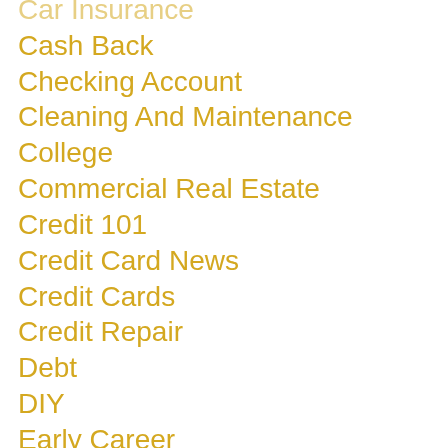Car Insurance
Cash Back
Checking Account
Cleaning And Maintenance
College
Commercial Real Estate
Credit 101
Credit Card News
Credit Cards
Credit Repair
Debt
DIY
Early Career
Education
Estate Planning
Extra Income